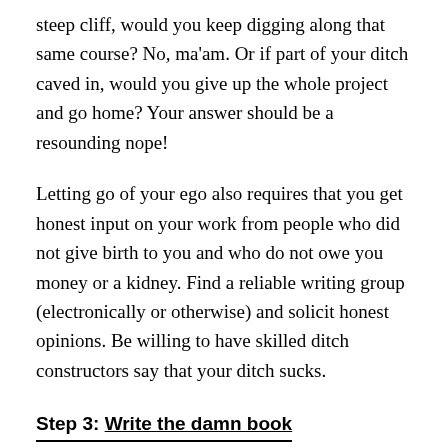steep cliff, would you keep digging along that same course? No, ma'am. Or if part of your ditch caved in, would you give up the whole project and go home? Your answer should be a resounding nope!
Letting go of your ego also requires that you get honest input on your work from people who did not give birth to you and who do not owe you money or a kidney. Find a reliable writing group (electronically or otherwise) and solicit honest opinions. Be willing to have skilled ditch constructors say that your ditch sucks.
Step 3: Write the damn book
Many of us work or have young children. Our days are sliced into units of time as wafer-thin as supermarket deli meat. But writing something, especially something as long and intricate as a novel, takes time. Each little chunk of